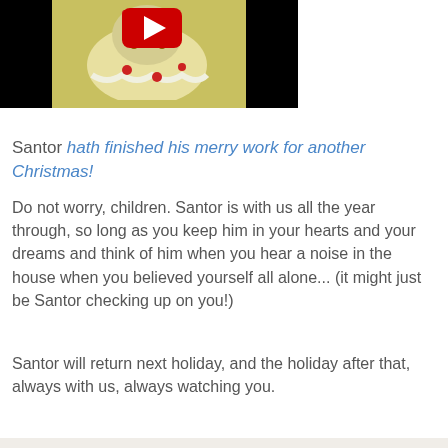[Figure (screenshot): YouTube video thumbnail showing a Santa Claus image with a red YouTube play button overlay, on a black background]
Santor hath finished his merry work for another Christmas!
Do not worry, children. Santor is with us all the year through, so long as you keep him in your hearts and your dreams and think of him when you hear a noise in the house when you believed yourself all alone... (it might just be Santor checking up on you!)
Santor will return next holiday, and the holiday after that, always with us, always watching you.